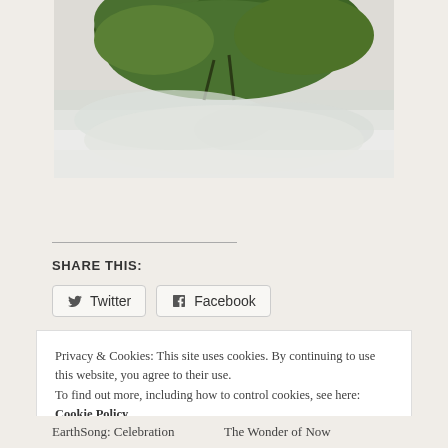[Figure (photo): Photograph of tree branches with green foliage against a misty or foggy background, possibly over water or snow]
SHARE THIS:
Twitter
Facebook
Privacy & Cookies: This site uses cookies. By continuing to use this website, you agree to their use.
To find out more, including how to control cookies, see here: Cookie Policy
Close and accept
EarthSong: Celebration    The Wonder of Now